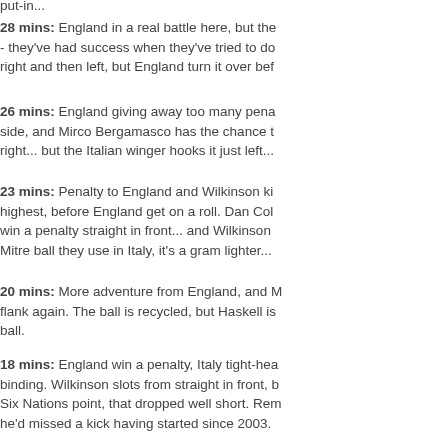put-in...
28 mins: England in a real battle here, but the - they've had success when they've tried to do right and then left, but England turn it over bef
26 mins: England giving away too many pena side, and Mirco Bergamasco has the chance t right... but the Italian winger hooks it just left...
23 mins: Penalty to England and Wilkinson ki highest, before England get on a roll. Dan Col win a penalty straight in front... and Wilkinson Mitre ball they use in Italy, it's a gram lighter...
20 mins: More adventure from England, and M flank again. The ball is recycled, but Haskell is ball.
18 mins: England win a penalty, Italy tight-hea binding. Wilkinson slots from straight in front, b Six Nations point, that dropped well short. Rem he'd missed a kick having started since 2003.
16 mins: Good start this from Italy, but you'd h from the English back three. But that's better f ball flatter, shipping it to Armitage, who slips it winger looks to chip through, but is snagged...